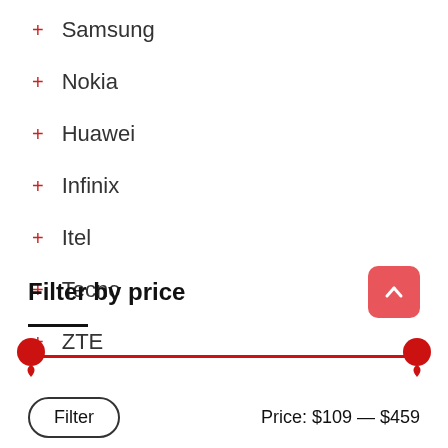+ Samsung
+ Nokia
+ Huawei
+ Infinix
+ Itel
+ Tecno
+ ZTE
Filter by price
[Figure (infographic): Price range slider with two red pin handles, one at the left end and one at the right end of the slider track, connected by a red line.]
Filter   Price: $109 — $459